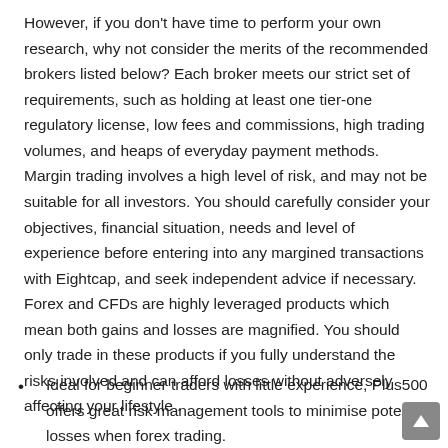However, if you don't have time to perform your own research, why not consider the merits of the recommended brokers listed below? Each broker meets our strict set of requirements, such as holding at least one tier-one regulatory license, low fees and commissions, high trading volumes, and heaps of everyday payment methods. Margin trading involves a high level of risk, and may not be suitable for all investors. You should carefully consider your objectives, financial situation, needs and level of experience before entering into any margined transactions with Eightcap, and seek independent advice if necessary. Forex and CFDs are highly leveraged products which mean both gains and losses are magnified. You should only trade in these products if you fully understand the risks involved and can afford losses without adversely affecting your lifestyle .
Ideal for beginner traders with little experience, Plus500 offers great risk management tools to minimise potential losses when forex trading.